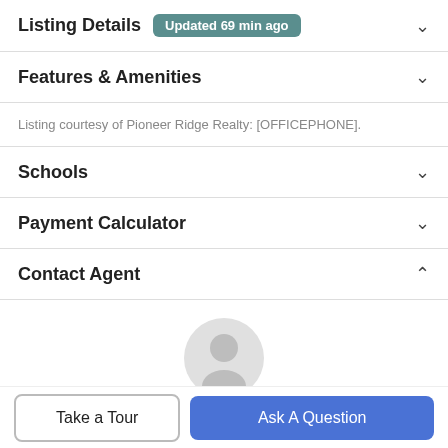Listing Details Updated 69 min ago
Features & Amenities
Listing courtesy of Pioneer Ridge Realty: [OFFICEPHONE].
Schools
Payment Calculator
Contact Agent
[Figure (illustration): Generic user avatar icon (grey circle with person silhouette)]
Take a Tour
Ask A Question